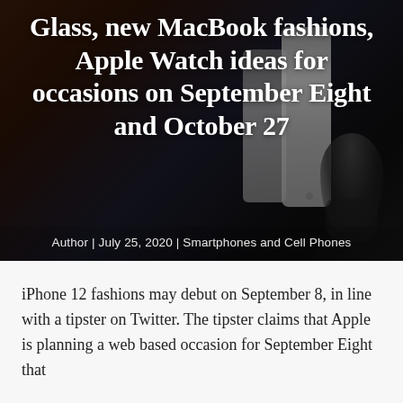[Figure (photo): Dark background hero image showing Apple devices and a presenter silhouette on stage, overlaid with article title and metadata]
Glass, new MacBook fashions, Apple Watch ideas for occasions on September Eight and October 27
Author | July 25, 2020 | Smartphones and Cell Phones
iPhone 12 fashions may debut on September 8, in line with a tipster on Twitter. The tipster claims that Apple is planning a web based occasion for September Eight that